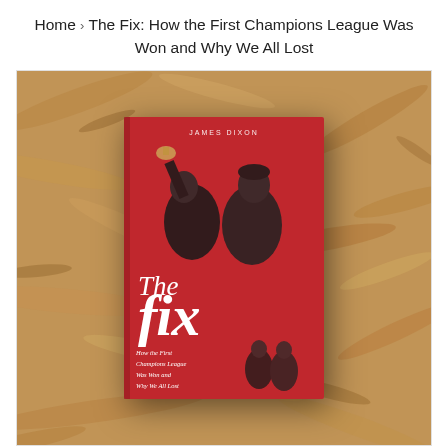Home › The Fix: How the First Champions League Was Won and Why We All Lost
[Figure (photo): A photograph of the book 'The Fix: How the First Champions League Was Won and Why We All Lost' by James Dixon, placed on a wooden chipboard surface. The book has a red cover with black-and-white images of football players and the large italic title 'The fix'.]